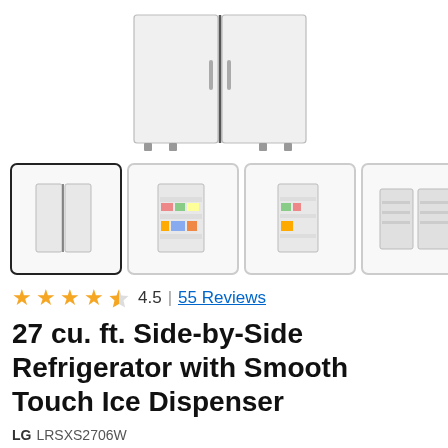[Figure (photo): Main product image of a white LG side-by-side refrigerator shown from the front, cropped at top]
[Figure (photo): Four product thumbnail images: 1) front view of closed white refrigerator (selected), 2) open refrigerator showing food inside, 3) open single door view, 4) open both doors wide view. Navigation arrow on right.]
4.5 | 55 Reviews
27 cu. ft. Side-by-Side Refrigerator with Smooth Touch Ice Dispenser
LG LRSXS2706W